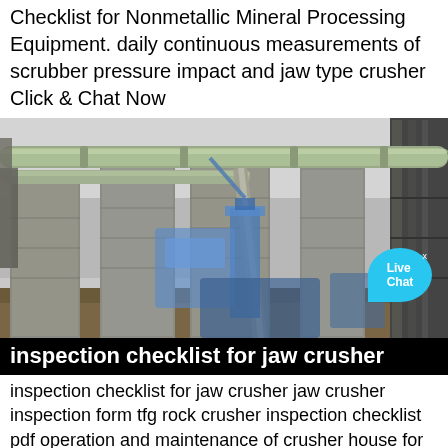Checklist for Nonmetallic Mineral Processing Equipment. daily continuous measurements of scrubber pressure impact and jaw type crusher Click & Chat Now
[Figure (photo): Industrial construction site showing large concrete silos or columns with green cylindrical pipes/tubes running horizontally overhead, a mobile crane in the background, and scaffolding/steel framework on the right side. A 'Live Chat' speech bubble overlay appears in the upper right of the image.]
inspection checklist for jaw crusher
inspection checklist for jaw crusher jaw crusher inspection form tfg rock crusher inspection checklist pdf operation and maintenance of crusher house for coal for inspection depends on the component and its effect on plant